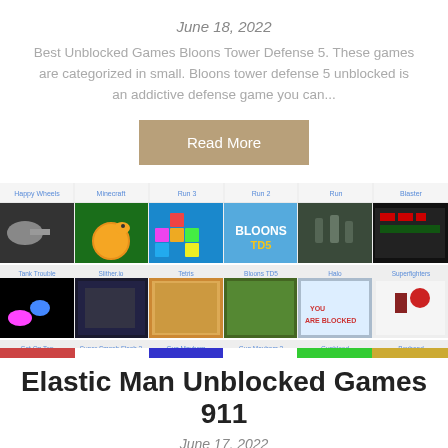June 18, 2022
Best Unblocked Games Bloons Tower Defense 5. These games are categorized in small. Bloons tower defense 5 unblocked is an addictive defense game you can...
Read More
[Figure (screenshot): Screenshot of an unblocked games website showing a navigation bar with Happy Wheels, Minecraft, Run 3, Run 2, Run, Blaster, and a grid of game thumbnails including Tank Trouble, Slither.io, Tetris, Bloons TD5, Halo, Superfighters in row one, and Get On Top, Super Smash Flash 2, Gun Mayhem, Gun Mayhem 2, Gunblood, Boxhead in row two, with a colorful bottom bar.]
Elastic Man Unblocked Games 911
June 17, 2022